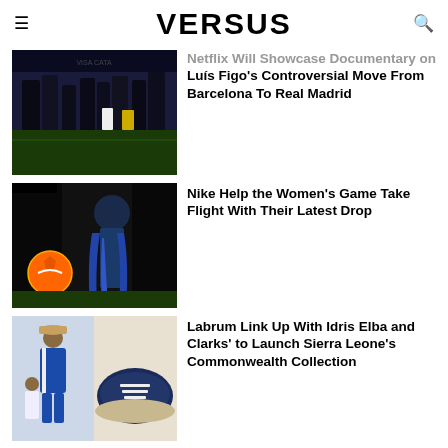VERSUS
Netflix Will Showcase Documentary on Luís Figo's Controversial Move From Barcelona To Real Madrid
Nike Help the Women's Game Take Flight With Their Latest Drop
Labrum Link Up With Idris Elba and Clarks' to Launch Sierra Leone's Commonwealth Collection